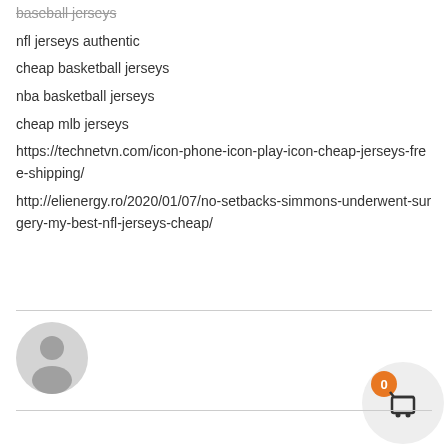baseball jerseys
nfl jerseys authentic
cheap basketball jerseys
nba basketball jerseys
cheap mlb jerseys
https://technetvn.com/icon-phone-icon-play-icon-cheap-jerseys-free-shipping/
http://elienergy.ro/2020/01/07/no-setbacks-simmons-underwent-surgery-my-best-nfl-jerseys-cheap/
[Figure (illustration): User avatar placeholder icon — grey circle with silhouette of a person]
[Figure (illustration): Shopping cart button with orange badge showing 0, on a light grey circle background]